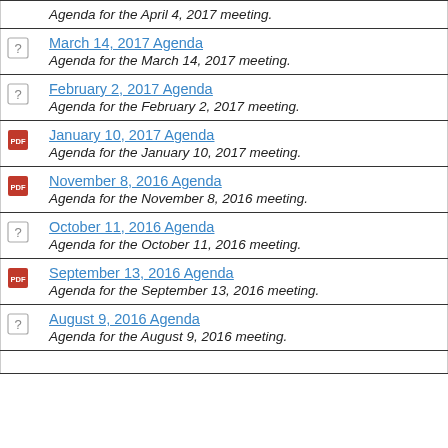|  | Agenda |
| --- | --- |
| [icon] | Agenda for the April 4, 2017 meeting. |
| [icon] | March 14, 2017 Agenda
Agenda for the March 14, 2017 meeting. |
| [icon] | February 2, 2017 Agenda
Agenda for the February 2, 2017 meeting. |
| [icon-pdf] | January 10, 2017 Agenda
Agenda for the January 10, 2017 meeting. |
| [icon-pdf] | November 8, 2016 Agenda
Agenda for the November 8, 2016 meeting. |
| [icon] | October 11, 2016 Agenda
Agenda for the October 11, 2016 meeting. |
| [icon-pdf] | September 13, 2016 Agenda
Agenda for the September 13, 2016 meeting. |
| [icon] | August 9, 2016 Agenda
Agenda for the August 9, 2016 meeting. |